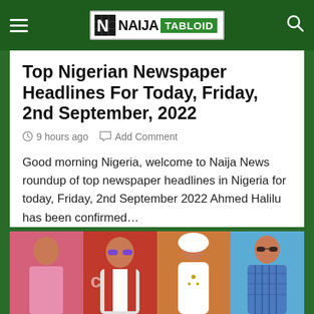Naija Tabloid
Top Nigerian Newspaper Headlines For Today, Friday, 2nd September, 2022
9 hours ago  Add Comment
Good morning Nigeria, welcome to Naija News roundup of top newspaper headlines in Nigeria for today, Friday, 2nd September 2022 Ahmed Halilu has been confirmed…
[Figure (photo): Four-panel image strip showing four people: a woman in pink, a man in a red suit with sunglasses, a woman in white traditional attire with headwrap, and a man in a blue patterned outfit]